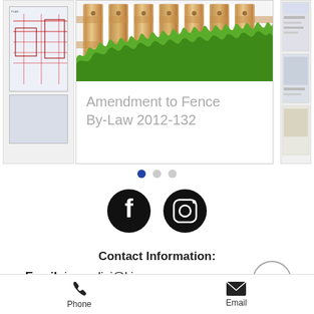[Figure (screenshot): Screenshot of a government webpage showing a carousel with an 'Amendment to Fence By-Law 2012-132' document card (fence illustration with wooden planks and grass), side thumbnail images, and pagination dots]
Contact Information:
Email: jcescolini@king.ca
Phone: 647-924-1780
[Figure (infographic): Facebook and Instagram social media icons (black circles with white logos)]
Phone   Email